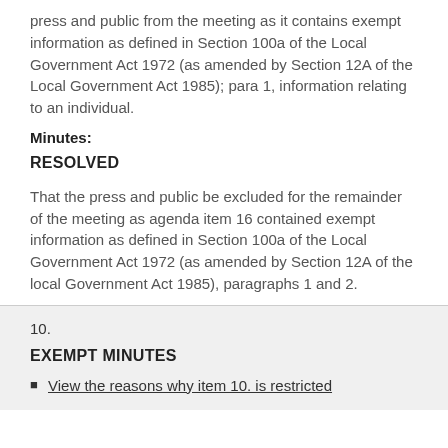press and public from the meeting as it contains exempt information as defined in Section 100a of the Local Government Act 1972 (as amended by Section 12A of the Local Government Act 1985); para 1, information relating to an individual.
Minutes:
RESOLVED
That the press and public be excluded for the remainder of the meeting as agenda item 16 contained exempt information as defined in Section 100a of the Local Government Act 1972 (as amended by Section 12A of the local Government Act 1985), paragraphs 1 and 2.
10.
EXEMPT MINUTES
View the reasons why item 10. is restricted